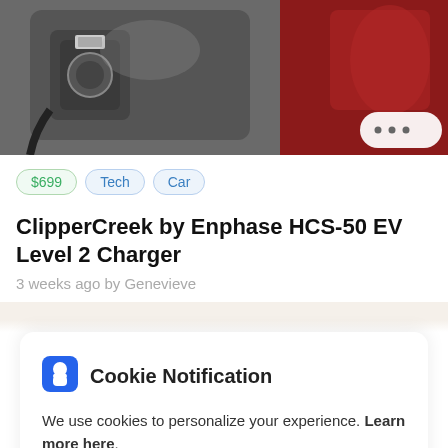[Figure (photo): Top portion of a product listing showing a car charging plug/connector area and red car body, partially visible.]
$699  Tech  Car
ClipperCreek by Enphase HCS-50 EV Level 2 Charger
3 weeks ago by Genevieve
Cookie Notification
We use cookies to personalize your experience. Learn more here.
I Don't Accept
I Accept